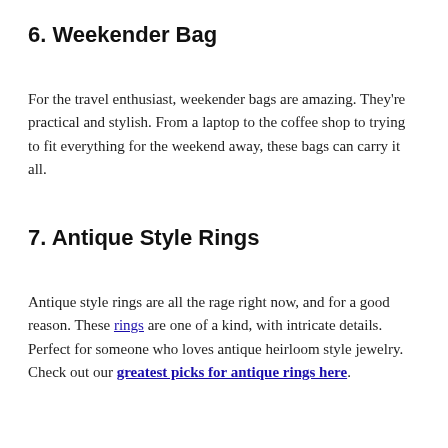6. Weekender Bag
For the travel enthusiast, weekender bags are amazing. They're practical and stylish. From a laptop to the coffee shop to trying to fit everything for the weekend away, these bags can carry it all.
7. Antique Style Rings
Antique style rings are all the rage right now, and for a good reason. These rings are one of a kind, with intricate details. Perfect for someone who loves antique heirloom style jewelry. Check out our greatest picks for antique rings here.